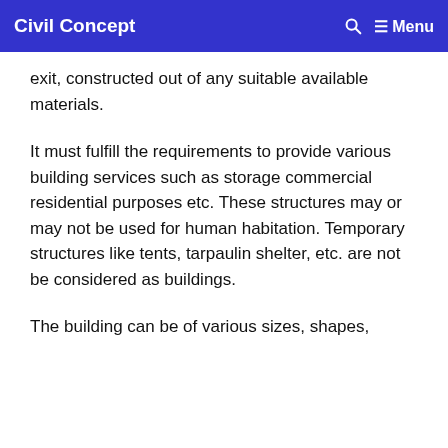Civil Concept  Menu
exit, constructed out of any suitable available materials.
It must fulfill the requirements to provide various building services such as storage commercial residential purposes etc. These structures may or may not be used for human habitation. Temporary structures like tents, tarpaulin shelter, etc. are not be considered as buildings.
The building can be of various sizes, shapes,